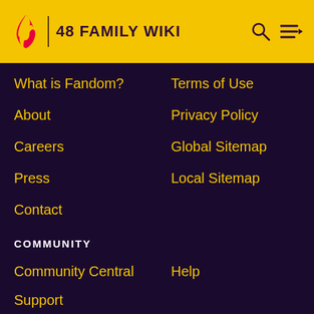48 FAMILY WIKI
What is Fandom?
Terms of Use
About
Privacy Policy
Careers
Global Sitemap
Press
Local Sitemap
Contact
COMMUNITY
Community Central
Help
Support
ADVERTISE
Media Kit